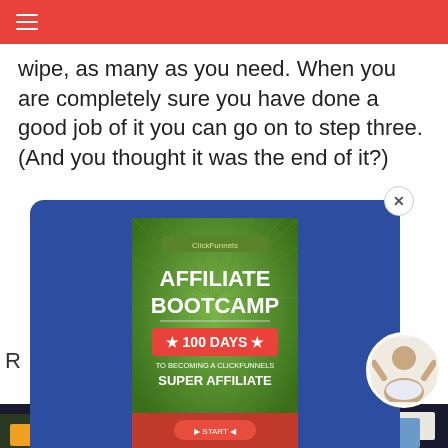≡ (hamburger menu)
wipe, as many as you need. When you are completely sure you have done a good job of it you can go on to step three. (And you thought it was the end of it?)
[Figure (screenshot): A modal popup overlay on a blue background containing: an 'Affiliate Bootcamp - 100 Days to Becoming a ClickFunnels Super Affiliate' book cover image, a First name input field, a your@email.com input field, and a red 'DOWNLOAD FREE AFFILIATE GUIDE' button. A close (x) button appears in the top-right corner of the modal.]
[Figure (photo): A woman sitting cross-legged avatar/chat icon in the bottom right corner]
[Figure (photo): Bottom banner image showing construction vehicles and text 'WITHOUT REGARD TO POLITICS, RELIGION, OR ABILITY TO PAY']